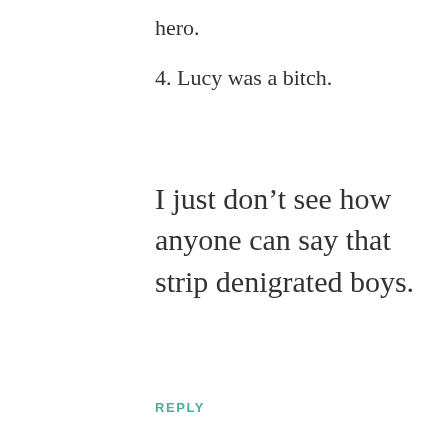hero.
4. Lucy was a bitch.
I just don’t see how anyone can say that strip denigrated boys.
REPLY
[Figure (photo): Circular avatar photo showing a group of people in a formal setting]
texagg04